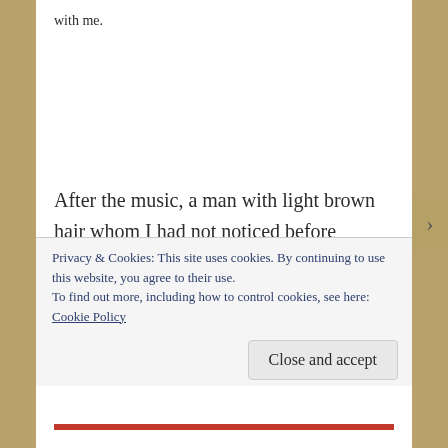with me.
After the music, a man with light brown hair whom I had not noticed before walked up to the stage holding a Bible.  He introduced himself as Dave.  Dave looked older than a student, probably around thirty, and he wore a
Privacy & Cookies: This site uses cookies. By continuing to use this website, you agree to their use.
To find out more, including how to control cookies, see here:
Cookie Policy
Close and accept